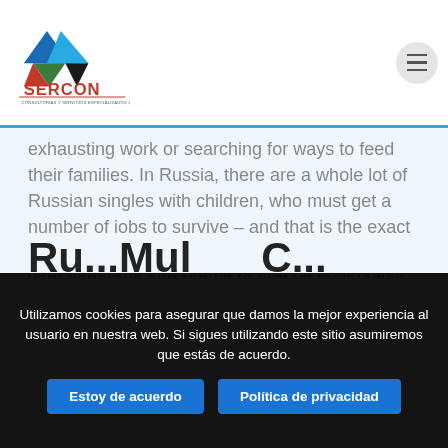[Figure (logo): SERCON logo with triangular graphic and text 'CONSULTORIAS Y SERVICIOS ESPECIALIZADOS D&V SAS']
exhausting work or searching for ways to feed their families. In Russia, there are a whole lot of Russian singles with children, who must get a number of jobs to survive – and that is the exact opposite of stability. Western males are often very generous and robust to protect their ladies from such a terrifying future, that's the reason Slavic women want to date them.
Ru...
Utilizamos cookies para asegurar que damos la mejor experiencia al usuario en nuestra web. Si sigues utilizando este sitio asumiremos que estás de acuerdo.
Estoy de acuerdo   Política de privacidad